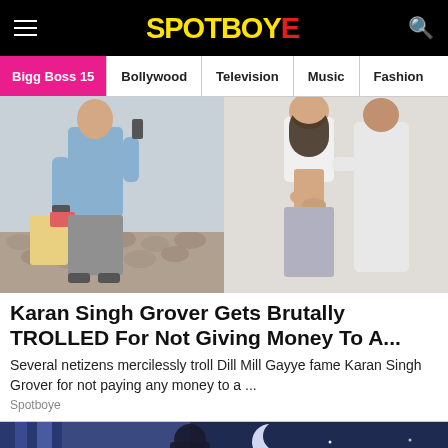SpotboyE
Bigg Boss 15 | Bollywood | Television | Music | Fashion
[Figure (photo): Two side-by-side photos: left shows a man in a light blue shirt carrying grocery bags on a street; right shows a couple posing together, woman in a white off-shoulder top showing midriff]
Karan Singh Grover Gets Brutally TROLLED For Not Giving Money To A...
Several netizens mercilessly troll Dill Mill Gayye fame Karan Singh Grover for not paying any money to a ...
Spotboye
[Figure (illustration): Illustration with dark blue/purple nighttime background with moon and stars, partially visible at bottom of page]